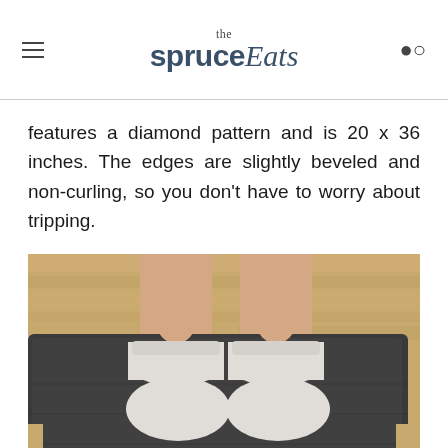the spruce Eats
features a diamond pattern and is 20 x 36 inches. The edges are slightly beveled and non-curling, so you don’t have to worry about tripping.
[Figure (photo): Person standing in white ankle socks on a dark gray anti-fatigue kitchen mat placed on a light wood floor. Only the lower legs and feet are visible.]